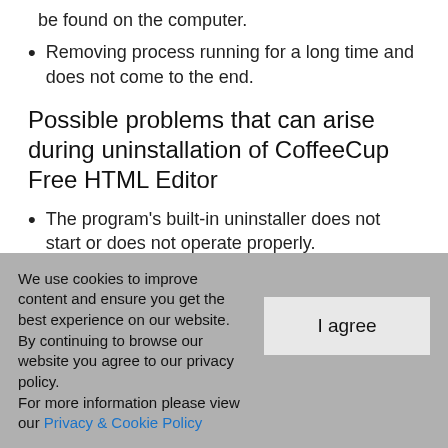be found on the computer.
Removing process running for a long time and does not come to the end.
Possible problems that can arise during uninstallation of CoffeeCup Free HTML Editor
The program's built-in uninstaller does not start or does not operate properly.
A file needed for the uninstallation...
We use cookies to improve content and ensure you get the best experience on our website. By continuing to browse our website you agree to our privacy policy. For more information please view our Privacy & Cookie Policy